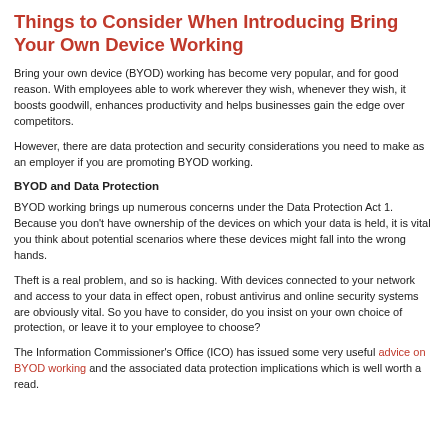Things to Consider When Introducing Bring Your Own Device Working
Bring your own device (BYOD) working has become very popular, and for good reason. With employees able to work wherever they wish, whenever they wish, it boosts goodwill, enhances productivity and helps businesses gain the edge over competitors.
However, there are data protection and security considerations you need to make as an employer if you are promoting BYOD working.
BYOD and Data Protection
BYOD working brings up numerous concerns under the Data Protection Act 1. Because you don't have ownership of the devices on which your data is held, it is vital you think about potential scenarios where these devices might fall into the wrong hands.
Theft is a real problem, and so is hacking. With devices connected to your network and access to your data in effect open, robust antivirus and online security systems are obviously vital. So you have to consider, do you insist on your own choice of protection, or leave it to your employee to choose?
The Information Commissioner's Office (ICO) has issued some very useful advice on BYOD working and the associated data protection implications which is well worth a read.